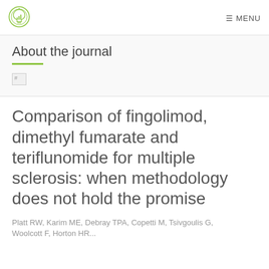MENU
About the journal
[Figure (other): Broken image placeholder with hash symbol]
Comparison of fingolimod, dimethyl fumarate and teriflunomide for multiple sclerosis: when methodology does not hold the promise
Platt RW, Karim ME, Debray TPA, Copetti M, Tsivgoulis G, Woolcott F, Horton HR...